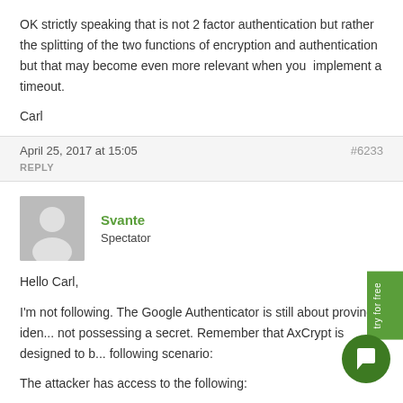OK strictly speaking that is not 2 factor authentication but rather the splitting of the two functions of encryption and authentication but that may become even more relevant when you  implement a timeout.

Carl
April 25, 2017 at 15:05
#6233
REPLY
Svante
Spectator
Hello Carl,
I'm not following. The Google Authenticator is still about proving iden... not possessing a secret. Remember that AxCrypt is designed to b... following scenario:
The attacker has access to the following: